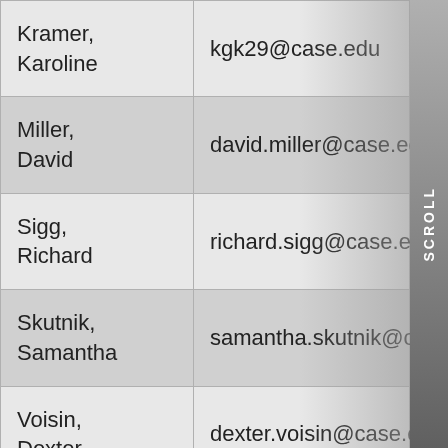| Name | Email |
| --- | --- |
| Kramer, Karoline | kgk29@case.edu |
| Miller, David | david.miller@case.edu |
| Sigg, Richard | richard.sigg@case.edu |
| Skutnik, Samantha | samantha.skutnik@case.edu |
| Voisin, Dexter | dexter.voisin@case.edu |